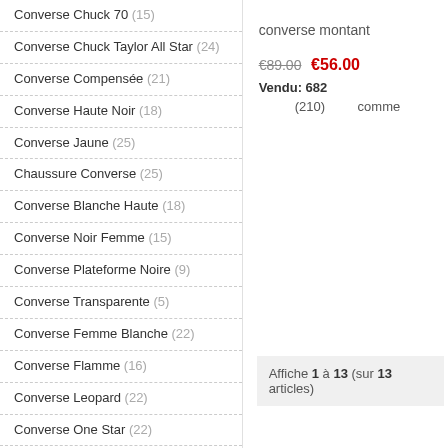Converse Chuck 70 (15)
Converse Chuck Taylor All Star (24)
Converse Compensée (21)
Converse Haute Noir (18)
Converse Jaune (25)
Chaussure Converse (25)
Converse Blanche Haute (18)
Converse Noir Femme (15)
Converse Plateforme Noire (9)
Converse Transparente (5)
Converse Femme Blanche (22)
Converse Flamme (16)
Converse Leopard (22)
Converse One Star (22)
Converse Original (11)
Converse Paillette (13)
converse montant
€89.00  €56.00
Vendu: 682
(210)  comme
Affiche 1 à 13 (sur 13 articles)